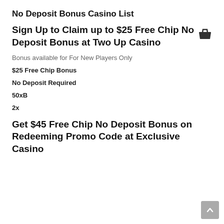No Deposit Bonus Casino List
Sign Up to Claim up to $25 Free Chip No Deposit Bonus at Two Up Casino
Bonus available for For New Players Only
$25 Free Chip Bonus
No Deposit Required
50xB
2x
Get $45 Free Chip No Deposit Bonus on Redeeming Promo Code at Exclusive Casino